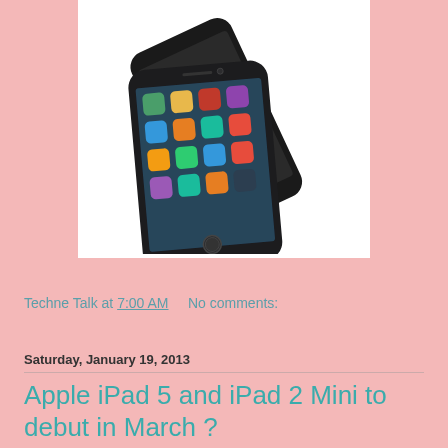[Figure (photo): Two black Apple iPhone 5 devices photographed from above at an angle, one on top of the other, showing the front screen with app icons and home button]
Techne Talk at 7:00 AM    No comments:
Saturday, January 19, 2013
Apple iPad 5 and iPad 2 Mini to debut in March ?